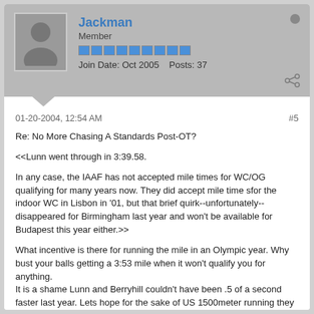Jackman
Member
Join Date: Oct 2005   Posts: 37
01-20-2004, 12:54 AM
#5
Re: No More Chasing A Standards Post-OT?
<<Lunn went through in 3:39.58.

In any case, the IAAF has not accepted mile times for WC/OG qualifying for many years now. They did accept mile time sfor the indoor WC in Lisbon in '01, but that brief quirk--unfortunately--disappeared for Birmingham last year and won't be available for Budapest this year either.>>

What incentive is there for running the mile in an Olympic year. Why bust your balls getting a 3:53 mile when it won't qualify you for anything.
It is a shame Lunn and Berryhill couldn't have been .5 of a second faster last year. Lets hope for the sake of US 1500meter running they both get the "A" standard this year.